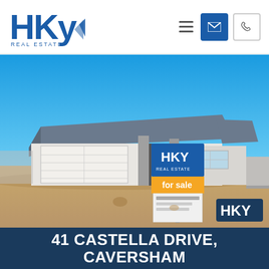HKY Real Estate
[Figure (photo): Exterior front view of a newly built single-storey residential house with grey roof, white facade, large garage door, modern entrance door, and an HKY Real Estate 'for sale' sign board in the sandy front yard. HKY Real Estate logo watermark in bottom right corner.]
41 CASTELLA DRIVE, CAVERSHAM